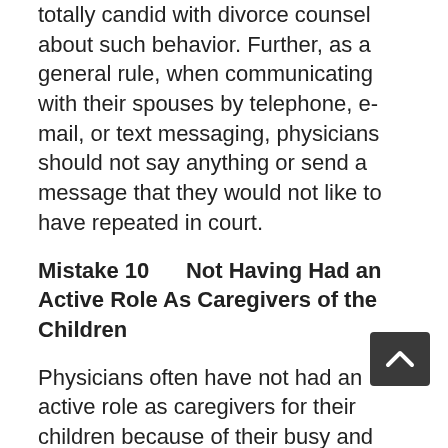totally candid with divorce counsel about such behavior. Further, as a general rule, when communicating with their spouses by telephone, e-mail, or text messaging, physicians should not say anything or send a message that they would not like to have repeated in court.
Mistake 10     Not Having Had an Active Role As Caregivers of the Children
Physicians often have not had an active role as caregivers for their children because of their busy and sometimes unpredictable schedules. After the spouses separate and divorce proceedings begin, physicians find themselves having to adjust to the care of and responsibility for their children and